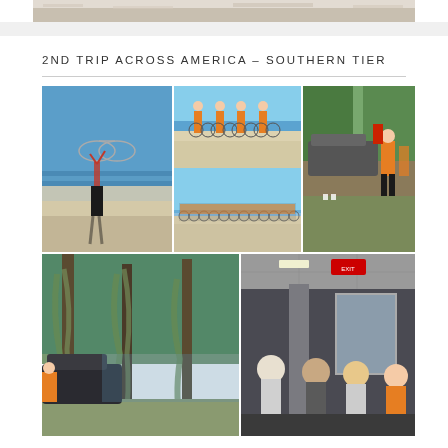[Figure (photo): Partial view of sandy beach/ocean at top of page, cropped]
2ND TRIP ACROSS AMERICA – SOUTHERN TIER
[Figure (photo): Person holding bicycle overhead on a beach with ocean waves]
[Figure (photo): Group of cyclists in orange jerseys posing on a beach with bikes]
[Figure (photo): Row of cyclists lined up on a beach, panoramic shot]
[Figure (photo): Cyclist in orange jersey standing next to a vehicle outdoors]
[Figure (photo): Outdoor scene with large Spanish moss trees and a vehicle]
[Figure (photo): Indoor scene with people gathered, appears to be a restaurant or rest stop]